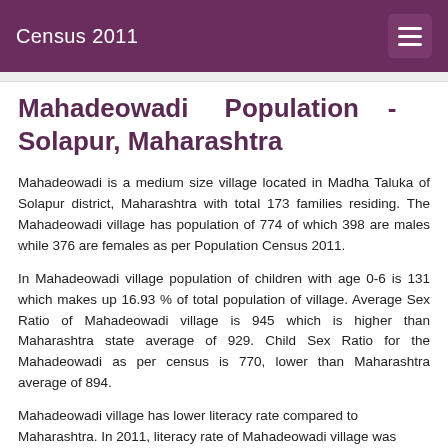Census 2011
Mahadeowadi Population - Solapur, Maharashtra
Mahadeowadi is a medium size village located in Madha Taluka of Solapur district, Maharashtra with total 173 families residing. The Mahadeowadi village has population of 774 of which 398 are males while 376 are females as per Population Census 2011.
In Mahadeowadi village population of children with age 0-6 is 131 which makes up 16.93 % of total population of village. Average Sex Ratio of Mahadeowadi village is 945 which is higher than Maharashtra state average of 929. Child Sex Ratio for the Mahadeowadi as per census is 770, lower than Maharashtra average of 894.
Mahadeowadi village has lower literacy rate compared to Maharashtra. In 2011, literacy rate of Mahadeowadi village was...